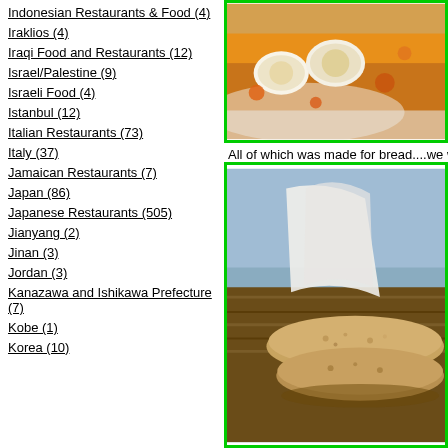Indonesian Restaurants & Food (4)
Iraklios (4)
Iraqi Food and Restaurants (12)
Israel/Palestine (9)
Israeli Food (4)
Istanbul (12)
Italian Restaurants (73)
Italy (37)
Jamaican Restaurants (7)
Japan (86)
Japanese Restaurants (505)
Jianyang (2)
Jinan (3)
Jordan (3)
Kanazawa and Ishikawa Prefecture (7)
Kobe (1)
Korea (10)
[Figure (photo): Food photo showing scallops or similar seafood in orange/red sauce on a white plate]
All of which was made for bread....we were
[Figure (photo): Food photo showing bread/flatbread stacked in a woven basket]